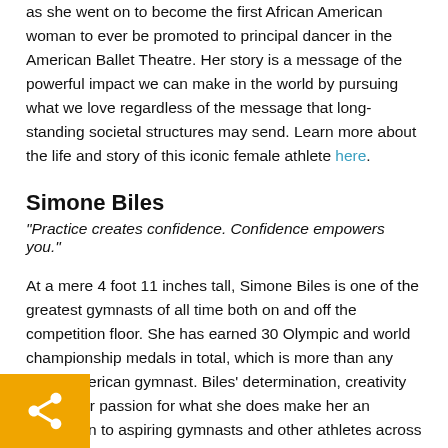as she went on to become the first African American woman to ever be promoted to principal dancer in the American Ballet Theatre. Her story is a message of the powerful impact we can make in the world by pursuing what we love regardless of the message that long-standing societal structures may send. Learn more about the life and story of this iconic female athlete here.
Simone Biles
"Practice creates confidence. Confidence empowers you."
At a mere 4 foot 11 inches tall, Simone Biles is one of the greatest gymnasts of all time both on and off the competition floor. She has earned 30 Olympic and world championship medals in total, which is more than any other American gymnast. Biles' determination, creativity and sheer passion for what she does make her an inspiration to aspiring gymnasts and other athletes across the world.